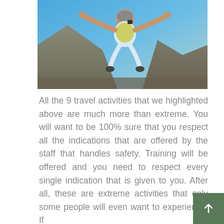[Figure (photo): Person skydiving over mountainous terrain with blue sky background, wearing parachute gear, arms outstretched facing downward toward camera]
All the 9 travel activities that we highlighted above are much more than extreme. You will want to be 100% sure that you respect all the indications that are offered by the staff that handles safety. Training will be offered and you need to respect every single indication that is given to you. After all, these are extreme activities that only some people will even want to experience. If